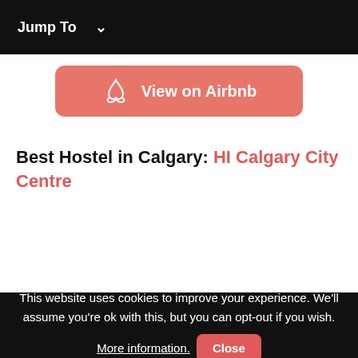Jump To ∨
[Figure (logo): Airbnb button with logo and text 'View on Airbnb' on a red-pink rounded rectangle]
Best Hostel in Calgary: HI Calgary City Centre
This website uses cookies to improve your experience. We'll assume you're ok with this, but you can opt-out if you wish. More information. Close